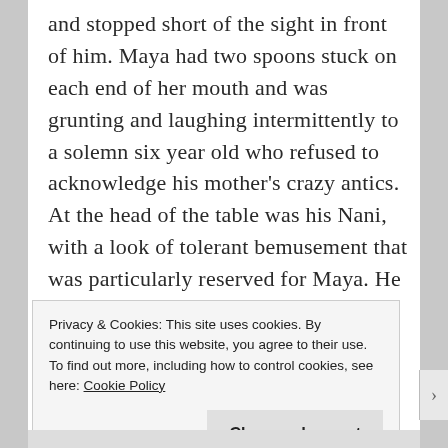and stopped short of the sight in front of him. Maya had two spoons stuck on each end of her mouth and was grunting and laughing intermittently to a solemn six year old who refused to acknowledge his mother's crazy antics. At the head of the table was his Nani, with a look of tolerant bemusement that was particularly reserved for Maya. He could tell that Maya was trying to get Mohan to join her. But his six year old maintained his solemnity through his dinner.
Privacy & Cookies: This site uses cookies. By continuing to use this website, you agree to their use.
To find out more, including how to control cookies, see here: Cookie Policy